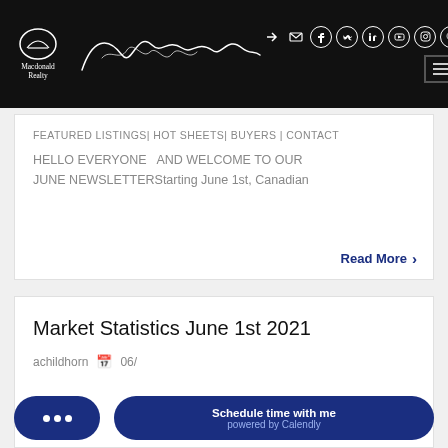Macdonald Realty — website header with logo, signature, social icons, and navigation menu
FEATURED LISTINGS| HOT SHEETS| BUYERS | CONTACT
HELLO EVERYONE   AND WELCOME TO OUR JUNE NEWSLETTERStarting June 1st, Canadian
Read More >
Market Statistics June 1st 2021
achildhorn   06/
Schedule time with me powered by Calendly